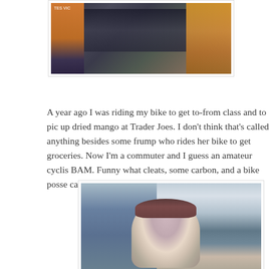[Figure (photo): Photo of cyclists at a race or group ride event, partially cropped at top. Cyclists in jerseys visible, one in orange and one in dark gear holding a bicycle.]
A year ago I was riding my bike to get to-from class and to pick up dried mango at Trader Joes.  I don't think that's called anything besides some frump who rides her bike to get groceries.  Now I'm a commuter and I guess an amateur cyclist. BAM.  Funny what cleats, some carbon, and a bike posse can turn you in to.
[Figure (photo): Vintage-style photo of a young girl with dark hair wearing a light purple outfit, sitting on a small bicycle or tricycle in front of a blue house exterior.]